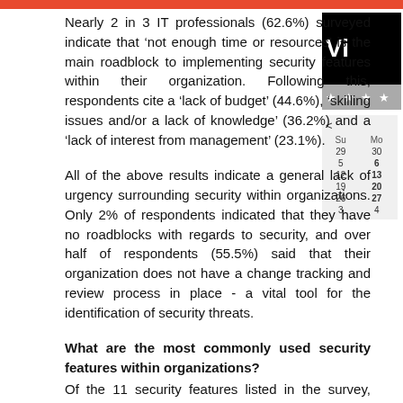Nearly 2 in 3 IT professionals (62.6%) surveyed indicate that ‘not enough time or resources’ is the main roadblock to implementing security features within their organization. Following this, respondents cite a ‘lack of budget’ (44.6%), ‘skilling issues and/or a lack of knowledge’ (36.2%) and a ‘lack of interest from management’ (23.1%).
All of the above results indicate a general lack of urgency surrounding security within organizations. Only 2% of respondents indicated that they have no roadblocks with regards to security, and over half of respondents (55.5%) said that their organization does not have a change tracking and review process in place - a vital tool for the identification of security threats.
What are the most commonly used security features within organizations?
Of the 11 security features listed in the survey, ‘spam filters’ are the most commonly used within organizations and